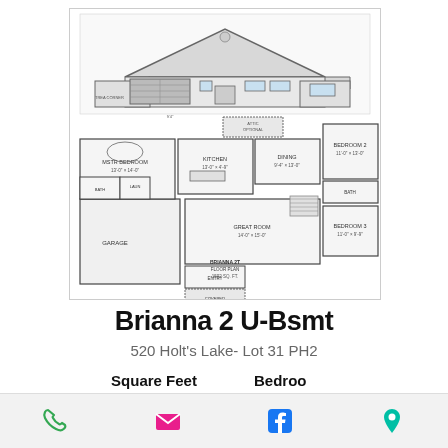[Figure (schematic): House floor plan with elevation view showing Brianna 2 floor plan with MSTR BEDROOM, GREAT ROOM, KITCHEN, DINING, GARAGE, BEDROOM 2, BEDROOM 3, BATH areas. Elevation shows single-story ranch-style home with garage.]
Brianna 2 U-Bsmt
520 Holt's Lake- Lot 31 PH2
Square Feet   Bedroo
[Figure (infographic): Bottom navigation bar with phone icon (green), email icon (pink/magenta), Facebook icon (blue), and location pin icon (green/teal)]